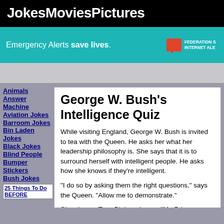JokesMoviesPictures
[Figure (infographic): Emergency Alerts save lives advertisement banner with teal background and Federation Internet Alerts logo]
Animals
Answer Machine
Aviation Jokes
Barroom Jokes
Bin Laden Jokes
Black Jokes
Blind People
Bumper Stickers
Bush Jokes
25 Things To Do BEFORE
George W. Bush's Intelligence Quiz
While visiting England, George W. Bush is invited to tea with the Queen. He asks her what her leadership philosophy is. She says that it is to surround herself with intelligent people. He asks how she knows if they're intelligent.
"I do so by asking them the right questions," says the Queen. "Allow me to demonstrate."
She phones Tony Blair and says, "Mr. Prime